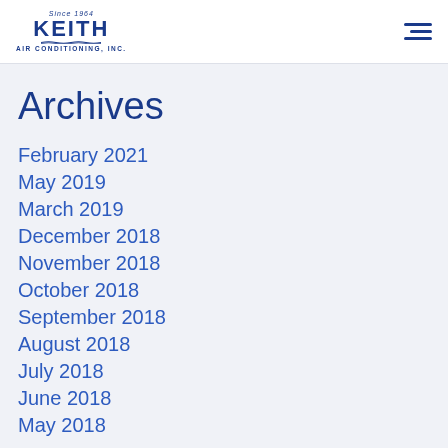Since 1964 KEITH AIR CONDITIONING, INC.
Archives
February 2021
May 2019
March 2019
December 2018
November 2018
October 2018
September 2018
August 2018
July 2018
June 2018
May 2018